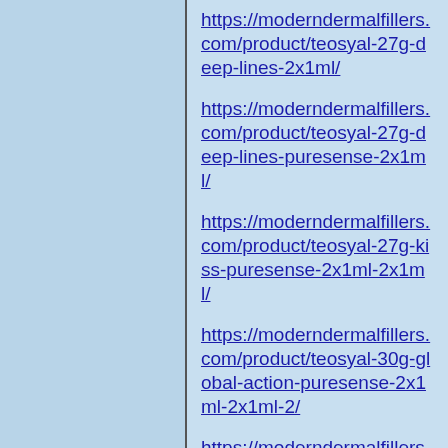https://moderndermalfillers.com/product/teosyal-27g-deep-lines-2x1ml/
https://moderndermalfillers.com/product/teosyal-27g-deep-lines-puresense-2x1ml/
https://moderndermalfillers.com/product/teosyal-27g-kiss-puresense-2x1ml-2x1ml/
https://moderndermalfillers.com/product/teosyal-30g-global-action-puresense-2x1ml-2x1ml-2/
https://moderndermalfillers.com/product/teosyal-30g-touch-up/
https://moderndermalfillers.com/product/stylage-special-lips-lidocaine-1x1ml-2/
https://moderndermalfillers.com/product/stylage-xl-with-lidocaine-2x1ml/
https://moderndermalfillers.com/product/stylage-xl-2x1ml/
https://moderndermalfillers.com/product/stylage-xl